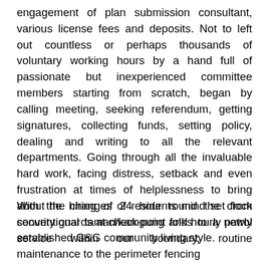engagement of plan submission consultant, various license fees and deposits. Not to left out countless or perhaps thousands of voluntary working hours by a hand full of passionate but inexperienced committee members starting from scratch, began by calling meeting, seeking referendum, getting signatures, collecting funds, setting policy, dealing and writing to all the relevant departments. Going through all the invaluable hard work, facing distress, setback and even frustration at times of helplessness to bring about the changes of residents mind set from conventional taman/kampung folks to a newly established G&G community living style.
With the hiring of 24 hour round the clock security guards at check-point and hourly patrol service within our boundary, routine maintenance to the perimeter fencing